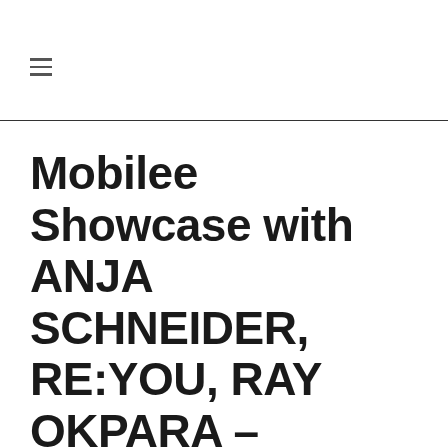Mobilee Showcase with ANJA SCHNEIDER, RE:YOU, RAY OKPARA – Saturday July 30th